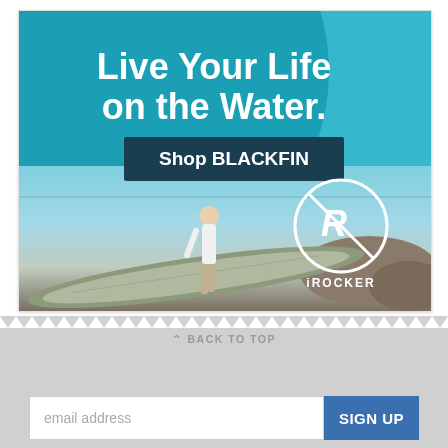[Figure (illustration): iROCKER BLACKFIN advertisement banner. Teal and dark teal background with large circle. Text reads 'Live Your Life on the Water.' with a 'Shop BLACKFIN' button. Photo of a woman carrying a stand-up paddleboard on rocky shore. iROCKER logo with circle and strikethrough R in bottom right corner.]
^ BACK TO TOP
email address
SIGN UP